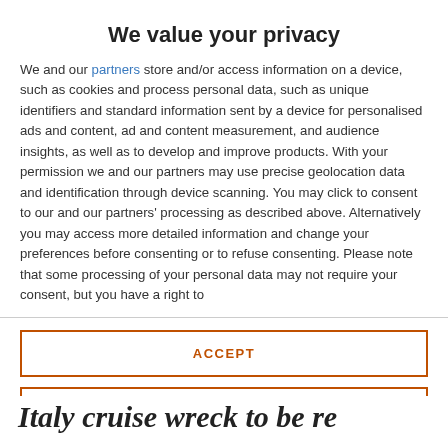We value your privacy
We and our partners store and/or access information on a device, such as cookies and process personal data, such as unique identifiers and standard information sent by a device for personalised ads and content, ad and content measurement, and audience insights, as well as to develop and improve products. With your permission we and our partners may use precise geolocation data and identification through device scanning. You may click to consent to our and our partners' processing as described above. Alternatively you may access more detailed information and change your preferences before consenting or to refuse consenting. Please note that some processing of your personal data may not require your consent, but you have a right to
ACCEPT
MORE OPTIONS
Italy cruise wreck to be re